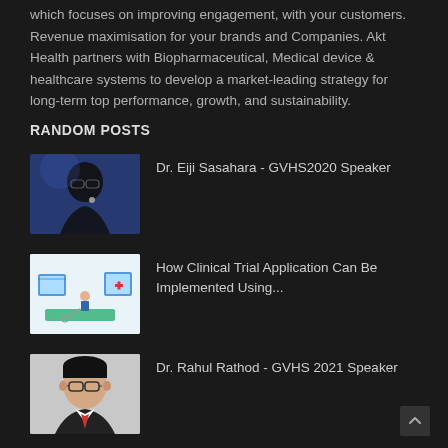which focuses on improving engagement, with your customers. Revenue maximisation for your brands and Companies. Akt Health partners with Biopharmaceutical, Medical device & healthcare systems to develop a market-leading strategy for long-term top performance, growth, and sustainability.
RANDOM POSTS
Dr. Eiji Sasahara - GVHS2020 Speaker
How Clinical Trial Application Can Be Implemented Using...
Dr. Rahul Rathod - GVHS 2021 Speaker